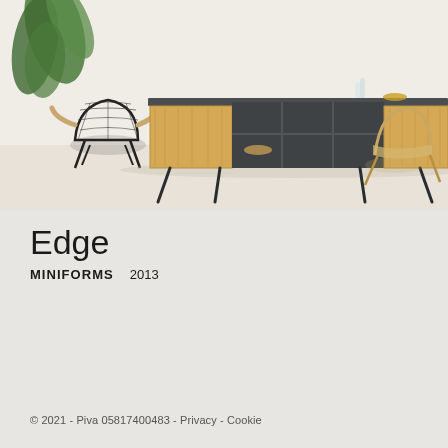[Figure (photo): Lifestyle photo of a mid-century modern sideboard/credenza made of oak wood with dark metal legs and a dark top, featuring open shelving in the center flanked by two panel doors. Surrounded by two chairs — a dark wire chair on the left and a light wood/rattan chair on the right — set in a light, neutral interior with a plant in the background.]
Edge
MINIFORMS   2013
© 2021 - Piva 05817400483 - Privacy - Cookie